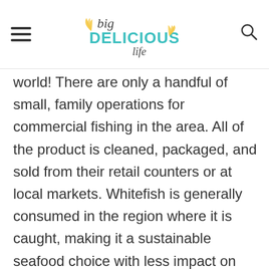big DELICIOUS life
world! There are only a handful of small, family operations for commercial fishing in the area. All of the product is cleaned, packaged, and sold from their retail counters or at local markets. Whitefish is generally consumed in the region where it is caught, making it a sustainable seafood choice with less impact on the environment. Seafood Watch is a great resource to check and see if your fish